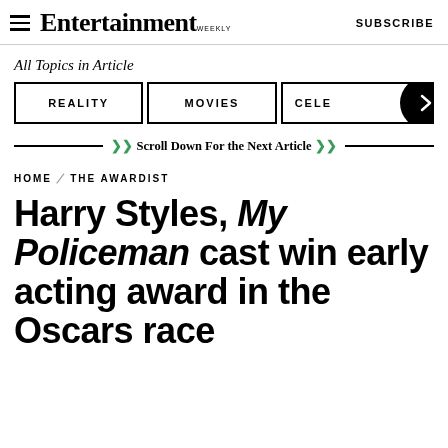Entertainment Weekly — SUBSCRIBE
All Topics in Article
REALITY | MOVIES | CELE →
Scroll Down For the Next Article
HOME / THE AWARDIST
Harry Styles, My Policeman cast win early acting award in the Oscars race